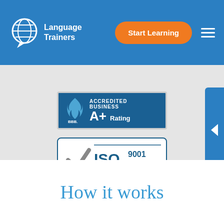[Figure (logo): Language Trainers logo: globe speech bubble icon with 'Language Trainers' text in white on blue nav bar]
[Figure (other): Start Learning orange button in navigation bar]
[Figure (logo): BBB Accredited Business A+ Rating badge on blue background]
[Figure (logo): ISO 9001 2015 Certified badge with checkmark on white background]
How it works